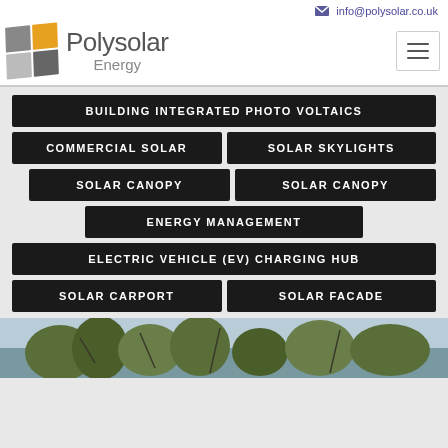info@polysolar.co.uk
[Figure (logo): Polysolar Energy logo with grid squares and company name]
BUILDING INTEGRATED PHOTO VOLTAICS
COMMERCIAL SOLAR
SOLAR SKYLIGHTS
SOLAR CANOPY
SOLAR CANOPY
ENERGY MANAGEMENT
ELECTRIC VEHICLE (EV) CHARGING HUB
SOLAR CARPORT
SOLAR FACADE
[Figure (photo): Outdoor photo showing trees and sky, bottom strip of page]